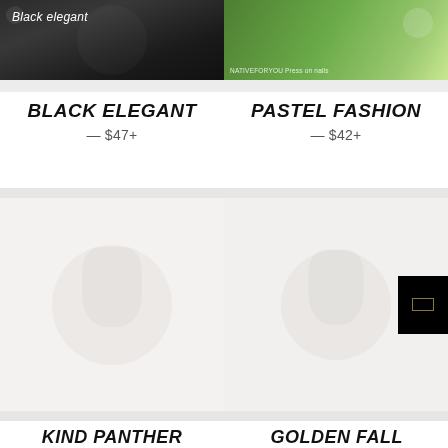[Figure (photo): Black elegant nail art photo with cursive text overlay 'Black elegant']
[Figure (photo): Pastel fashion nail art photo on green background with watermark text 'NATIVEFORYOU Press on nails']
BLACK ELEGANT
— $47+
PASTEL FASHION
— $42+
[Figure (photo): Kind Panther product - very light/faded nail image]
[Figure (photo): Golden Fall product - very light/faded nail image with black badge overlay]
KIND PANTHER
GOLDEN FALL